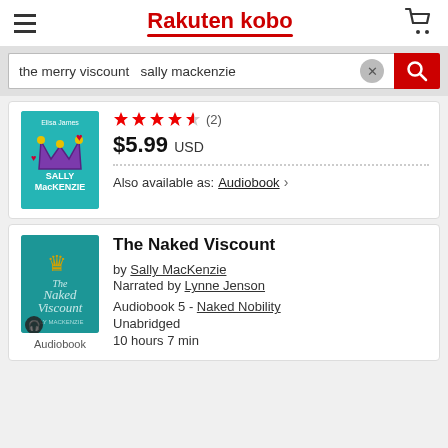Rakuten kobo
the merry viscount  sally mackenzie
★★★★½ (2)
$5.99 USD
Also available as: Audiobook ›
The Naked Viscount
by Sally MacKenzie
Narrated by Lynne Jenson
Audiobook 5 - Naked Nobility
Unabridged
10 hours 7 min
Audiobook